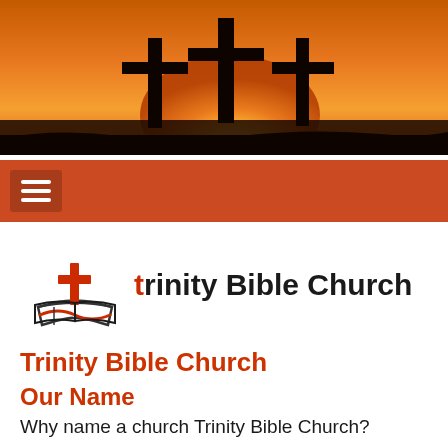[Figure (photo): Three crosses silhouetted against a golden orange sunset sky, landscape banner image]
[Figure (other): Red/orange navigation bar with hamburger menu icon (three horizontal lines) on the left side]
[Figure (logo): Trinity Bible Church logo: a cross with an open book beneath it, text reads 'trinity Bible Church']
Trinity Bible Church
Our Name
Why name a church Trinity Bible Church?